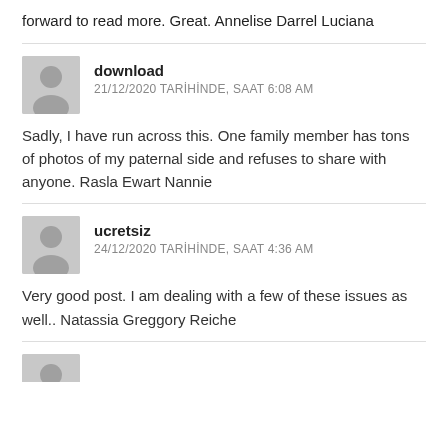forward to read more. Great. Annelise Darrel Luciana
download
21/12/2020 TARİHİNDE, SAAT 6:08 AM

Sadly, I have run across this. One family member has tons of photos of my paternal side and refuses to share with anyone. Rasla Ewart Nannie
ucretsiz
24/12/2020 TARİHİNDE, SAAT 4:36 AM

Very good post. I am dealing with a few of these issues as well.. Natassia Greggory Reiche